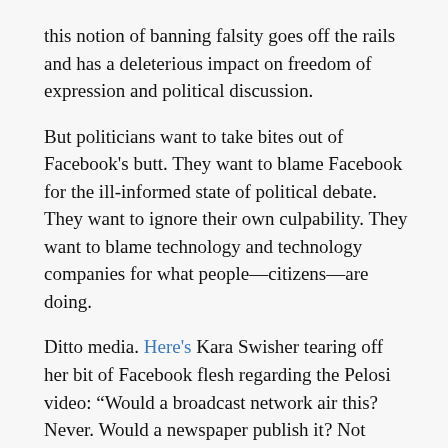this notion of banning falsity goes off the rails and has a deleterious impact on freedom of expression and political discussion.
But politicians want to take bites out of Facebook's butt. They want to blame Facebook for the ill-informed state of political debate. They want to ignore their own culpability. They want to blame technology and technology companies for what people—citizens—are doing.
Ditto media. Here's Kara Swisher tearing off her bit of Facebook flesh regarding the Pelosi video: “Would a broadcast network air this? Never. Would a newspaper publish it? Not without serious repercussions. Would a marketing campaign like this ever pass muster? False advertising.”
Sigh. The internet is not media. Facebook is not news (only 4% of what appears there is). What you see there is not a cast alt is a perception. The internet and Facebook...